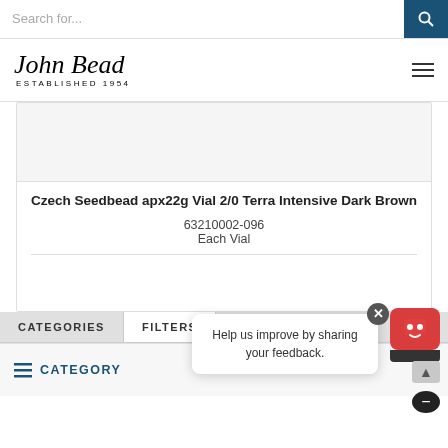Search for...
[Figure (logo): John Bead cursive logo with ESTABLISHED 1954 text]
Czech Seedbead apx22g Vial 2/0 Terra Intensive Dark Brown
63210002-096
Each Vial
CATEGORIES   FILTERS
Help us improve by sharing your feedback.
CATEGORY